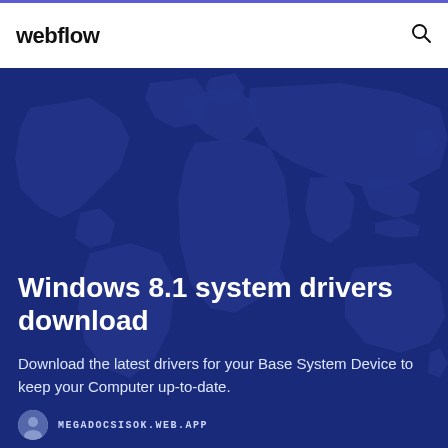webflow
[Figure (illustration): Dark blue world map hero background with continents visible as slightly lighter blue shapes against a deeper blue background]
Windows 8.1 system drivers download
Download the latest drivers for your Base System Device to keep your Computer up-to-date.
MEGADOCSISOK.WEB.APP